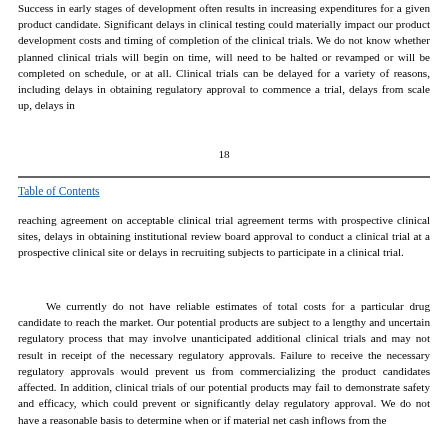Success in early stages of development often results in increasing expenditures for a given product candidate. Significant delays in clinical testing could materially impact our product development costs and timing of completion of the clinical trials. We do not know whether planned clinical trials will begin on time, will need to be halted or revamped or will be completed on schedule, or at all. Clinical trials can be delayed for a variety of reasons, including delays in obtaining regulatory approval to commence a trial, delays from scale up, delays in
18
Table of Contents
reaching agreement on acceptable clinical trial agreement terms with prospective clinical sites, delays in obtaining institutional review board approval to conduct a clinical trial at a prospective clinical site or delays in recruiting subjects to participate in a clinical trial.
We currently do not have reliable estimates of total costs for a particular drug candidate to reach the market. Our potential products are subject to a lengthy and uncertain regulatory process that may involve unanticipated additional clinical trials and may not result in receipt of the necessary regulatory approvals. Failure to receive the necessary regulatory approvals would prevent us from commercializing the product candidates affected. In addition, clinical trials of our potential products may fail to demonstrate safety and efficacy, which could prevent or significantly delay regulatory approval. We do not have a reasonable basis to determine when or if material net cash inflows from the